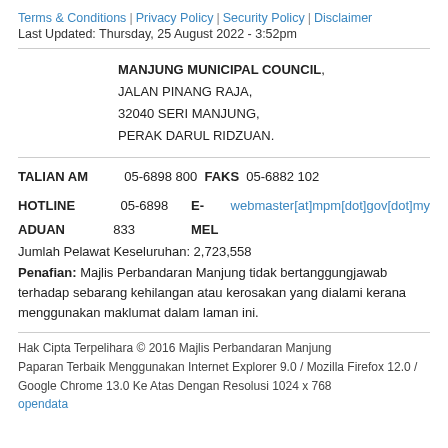Terms & Conditions | Privacy Policy | Security Policy | Disclaimer
Last Updated: Thursday, 25 August 2022 - 3:52pm
MANJUNG MUNICIPAL COUNCIL,
JALAN PINANG RAJA,
32040 SERI MANJUNG,
PERAK DARUL RIDZUAN.
TALIAN AM   05-6898 800  FAKS  05-6882 102
HOTLINE ADUAN  05-6898 833  E-MEL  webmaster[at]mpm[dot]gov[dot]my
Jumlah Pelawat Keseluruhan: 2,723,558
Penafian: Majlis Perbandaran Manjung tidak bertanggungjawab terhadap sebarang kehilangan atau kerosakan yang dialami kerana menggunakan maklumat dalam laman ini.
Hak Cipta Terpelihara © 2016 Majlis Perbandaran Manjung
Paparan Terbaik Menggunakan Internet Explorer 9.0 / Mozilla Firefox 12.0 / Google Chrome 13.0 Ke Atas Dengan Resolusi 1024 x 768
opendata